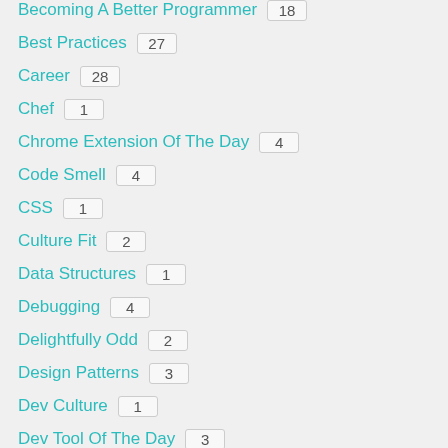Becoming A Better Programmer 18
Best Practices 27
Career 28
Chef 1
Chrome Extension Of The Day 4
Code Smell 4
CSS 1
Culture Fit 2
Data Structures 1
Debugging 4
Delightfully Odd 2
Design Patterns 3
Dev Culture 1
Dev Tool Of The Day 3